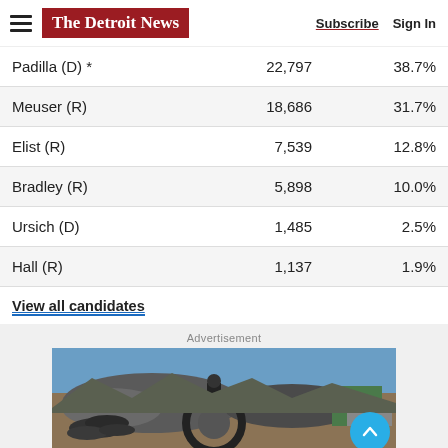The Detroit News — Subscribe | Sign In
| Candidate | Votes | Pct |
| --- | --- | --- |
| Padilla (D) * | 22,797 | 38.7% |
| Meuser (R) | 18,686 | 31.7% |
| Elist (R) | 7,539 | 12.8% |
| Bradley (R) | 5,898 | 10.0% |
| Ursich (D) | 1,485 | 2.5% |
| Hall (R) | 1,137 | 1.9% |
View all candidates
Advertisement
[Figure (photo): Advertisement photo showing a person at a junkyard/scrapyard with piles of tires and scrap metal]